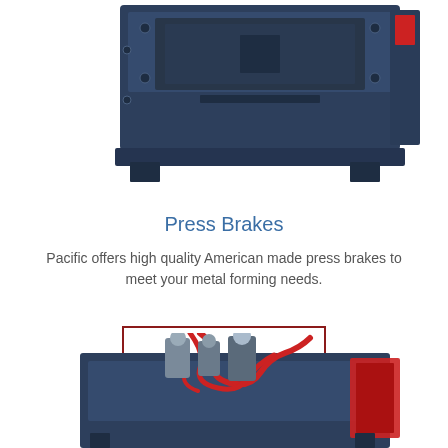[Figure (photo): Top portion of a blue industrial press brake machine viewed from above/side angle, showing dark navy blue metal housing with bolts and a red accent component on the right side.]
Press Brakes
Pacific offers high quality American made press brakes to meet your metal forming needs.
LEARN MORE
[Figure (photo): Bottom portion of another industrial press brake machine in blue, with red hydraulic hoses and mechanical components visible, partially cropped at the bottom of the page.]